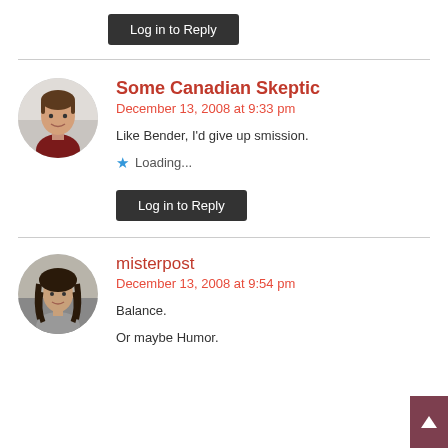Log in to Reply
Some Canadian Skeptic
December 13, 2008 at 9:33 pm
Like Bender, I'd give up smission.
Loading...
Log in to Reply
misterpost
December 13, 2008 at 9:54 pm
Balance.
Or maybe Humor.